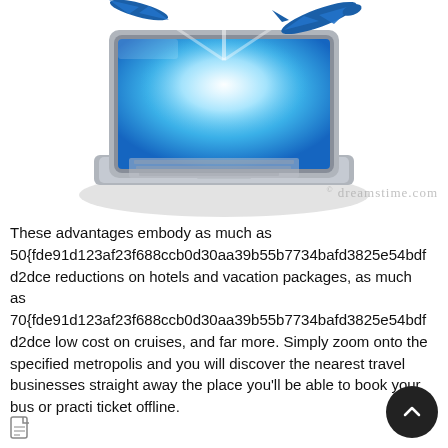[Figure (illustration): A laptop computer with a bright blue glowing screen showing a sky/cloud effect, with an airplane flying out of the screen against a white background. Dreamstime.com watermark visible.]
These advantages embody as much as 50{fde91d123af23f688ccb0d30aa39b55b7734bafd3825e54bdfd2dce reductions on hotels and vacation packages, as much as 70{fde91d123af23f688ccb0d30aa39b55b7734bafd3825e54bdfd2dce low cost on cruises, and far more. Simply zoom onto the specified metropolis and you will discover the nearest travel businesses straight away the place you'll be able to book your bus or practi ticket offline.